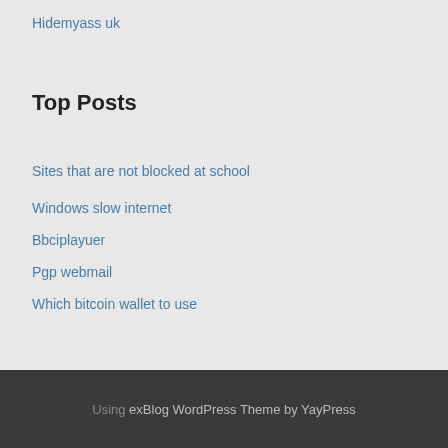Hidemyass uk
Top Posts
Sites that are not blocked at school
Windows slow internet
Bbciplayuer
Pgp webmail
Which bitcoin wallet to use
Using exBlog WordPress Theme by YayPress